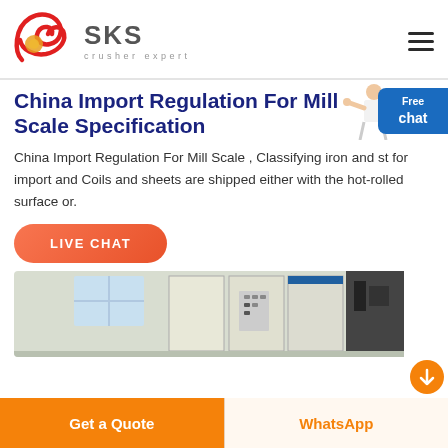[Figure (logo): SKS crusher expert logo with red swirl graphic and grey SKS text]
China Import Regulation For Mill Scale Specification
China Import Regulation For Mill Scale , Classifying iron and st for import and Coils and sheets are shipped either with the hot-rolled surface or.
[Figure (illustration): Person pointing - free chat widget badge in blue on right side]
[Figure (photo): Industrial machine / electrical control cabinet in a factory setting]
LIVE CHAT
Get a Quote
WhatsApp